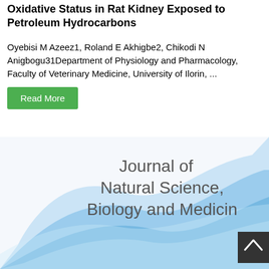Oxidative Status in Rat Kidney Exposed to Petroleum Hydrocarbons
Oyebisi M Azeez1, Roland E Akhigbe2, Chikodi N Anigbogu31Department of Physiology and Pharmacology, Faculty of Veterinary Medicine, University of Ilorin, ...
[Figure (illustration): Journal of Natural Science, Biology and Medicine journal cover image showing blue flowing wave design with text overlay]